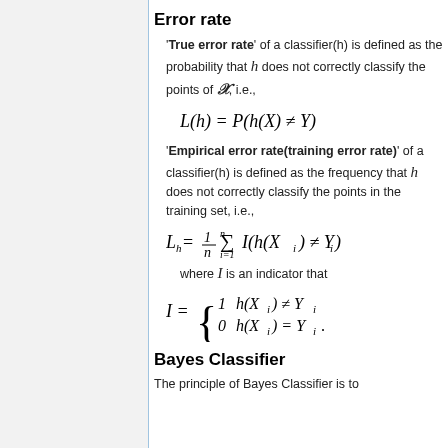Error rate
'True error rate' of a classifier(h) is defined as the probability that h does not correctly classify the points of X, i.e.,
'Empirical error rate(training error rate)' of a classifier(h) is defined as the frequency that h does not correctly classify the points in the training set, i.e.,
where I is an indicator that
Bayes Classifier
The principle of Bayes Classifier is to